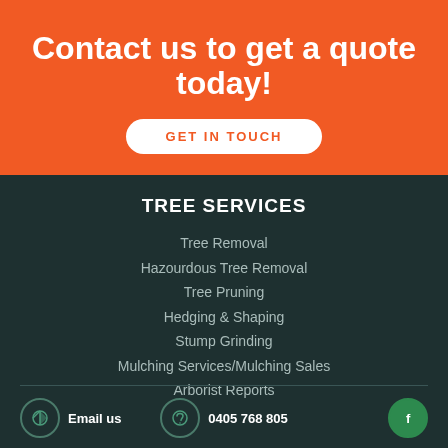Contact us to get a quote today!
GET IN TOUCH
TREE SERVICES
Tree Removal
Hazourdous Tree Removal
Tree Pruning
Hedging & Shaping
Stump Grinding
Mulching Services/Mulching Sales
Arborist Reports
Email us  0405 768 805